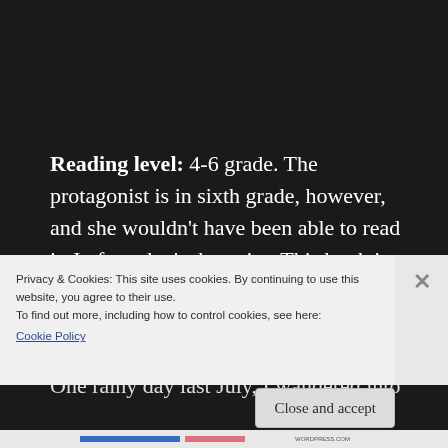Reading level: 4-6 grade. The protagonist is in sixth grade, however, and she wouldn't have been able to read it. In fact, that's the point. This book is for anyone who has ever struggled in school or felt like they didn't fit in.
One rainy day last July, I wandered into
Privacy & Cookies: This site uses cookies. By continuing to use this website, you agree to their use.
To find out more, including how to control cookies, see here:
Cookie Policy
Close and accept